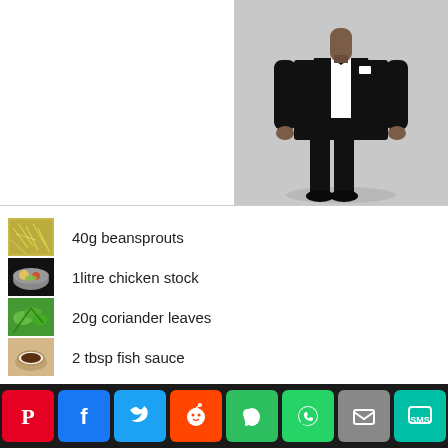[Figure (photo): Man in black tuxedo/formal suit with white shirt and bow tie, standing against gray background, cropped at top]
40g beansprouts
1litre chicken stock
20g coriander leaves
2 tbsp fish sauce
[Figure (infographic): Social sharing bar with icons: Pinterest, Facebook, Twitter, Reddit, Evernote, WhatsApp, Email, SMS]